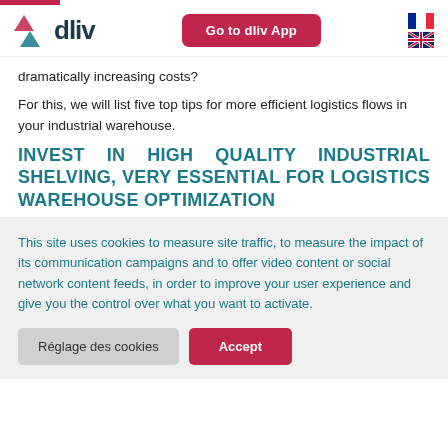[Figure (logo): dliv logo with teal arrow and text]
dramatically increasing costs?
For this, we will list five top tips for more efficient logistics flows in your industrial warehouse.
INVEST IN HIGH QUALITY INDUSTRIAL SHELVING, VERY ESSENTIAL FOR LOGISTICS WAREHOUSE OPTIMIZATION
This site uses cookies to measure site traffic, to measure the impact of its communication campaigns and to offer video content or social network content feeds, in order to improve your user experience and give you the control over what you want to activate.